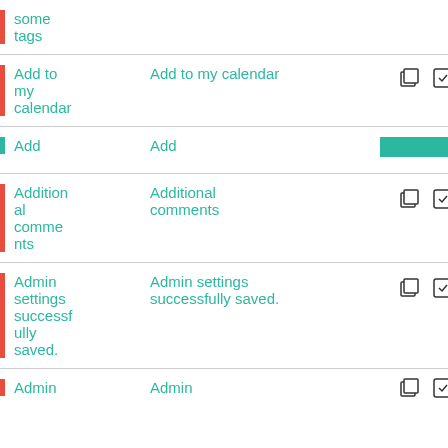| Key | Value | Actions |
| --- | --- | --- |
| some tags |  |  |
| Add to my calendar | Add to my calendar | copy/edit icons |
| Add | Add | ██████ copy/edit icons |
| Additional comments | Additional comments | copy/edit icons |
| Admin settings successfully saved. | Admin settings successfully saved. | copy/edit icons |
| Admin | Admin | copy/edit icons |